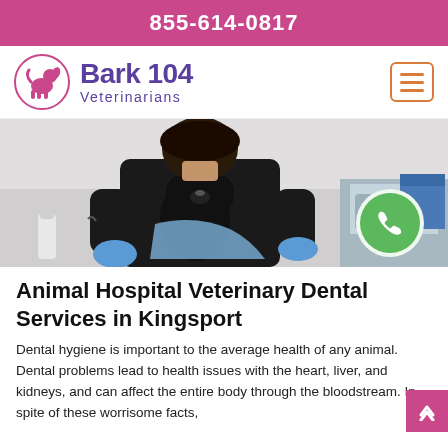855-614-0817
[Figure (logo): Bark 104 Veterinarians logo with pink dog silhouette in a circle]
[Figure (photo): Veterinarian in black scrubs holding a black poodle dog in a veterinary clinic]
Animal Hospital Veterinary Dental Services in Kingsport
Dental hygiene is important to the average health of any animal. Dental problems lead to health issues with the heart, liver, and kidneys, and can affect the entire body through the bloodstream. In spite of these worrisome facts,